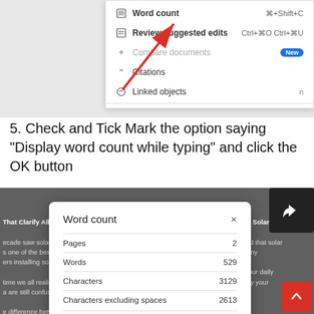[Figure (screenshot): Google Docs Tools menu showing Word count, Review suggested edits, Compare documents (New), Citations, Linked objects options with a red arrow pointing to Word count]
5. Check and Tick Mark the option saying “Display word count while typing” and click the OK button
[Figure (screenshot): Word count dialog box showing Pages: 2, Words: 529, Characters: 3129, Characters excluding spaces: 2613, and Display word count while typing checkbox checked, with red arrow pointing to the checkbox]